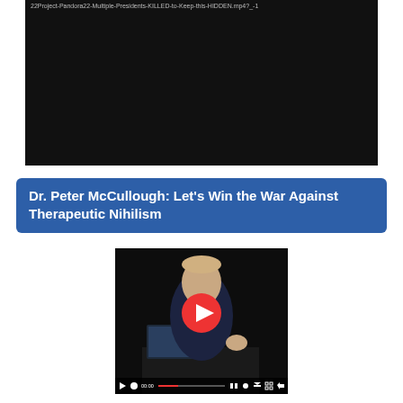[Figure (screenshot): Black video player frame showing a filename in the top-left: 22Project-Pandora22-Multiple-Presidents-KILLED-to-Keep-this-HIDDEN.mp4?_-1]
Dr. Peter McCullough: Let's Win the War Against Therapeutic Nihilism
[Figure (screenshot): Video thumbnail showing Dr. Peter McCullough speaking at a podium with a laptop, wearing a dark suit. A red circular play button is overlaid in the center. A video controls bar is visible at the bottom showing 00:00 timestamp and various control icons.]